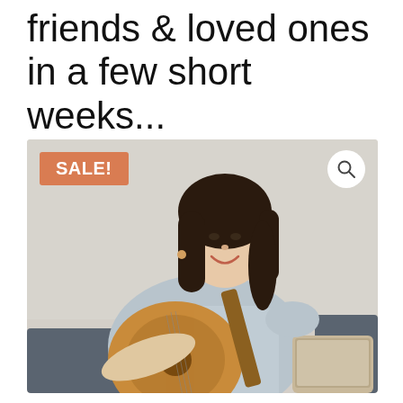friends & loved ones in a few short weeks...
[Figure (photo): A smiling young Asian woman playing an acoustic guitar while looking at a laptop screen, seated on a couch in front of a white brick wall. A 'SALE!' badge in orange appears in the top-left corner of the image, and a magnifying glass search icon appears in the top-right.]